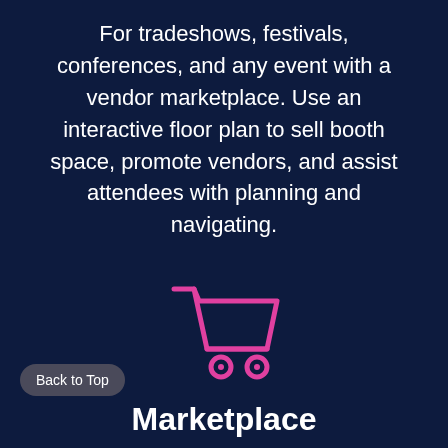For tradeshows, festivals, conferences, and any event with a vendor marketplace. Use an interactive floor plan to sell booth space, promote vendors, and assist attendees with planning and navigating.
[Figure (illustration): Pink/magenta neon outline icon of a shopping cart on dark navy background]
Marketplace
Build out a marketplace of participating vendors with information-rich profiles. Connect your vendors to attendees, sessions, speakers, and
Back to Top